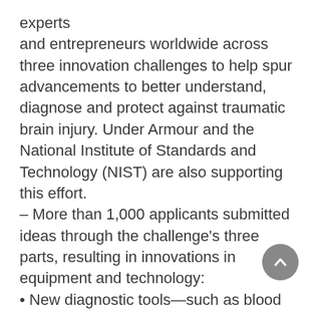experts and entrepreneurs worldwide across three innovation challenges to help spur advancements to better understand, diagnose and protect against traumatic brain injury. Under Armour and the National Institute of Standards and Technology (NIST) are also supporting this effort.
– More than 1,000 applicants submitted ideas through the challenge's three parts, resulting in innovations in equipment and technology:
• New diagnostic tools—such as blood tests, biomarkers and MRI technologies—to aid in the detection of traumatic brain injury.
• Helmet and turf technologies designed to